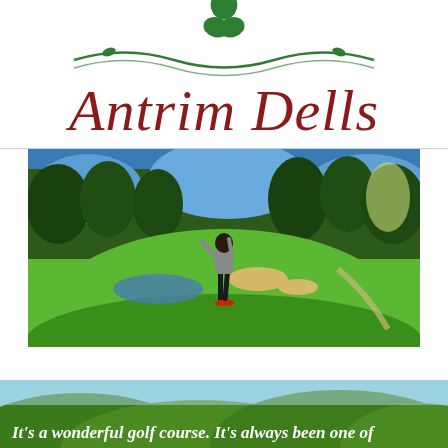[Figure (logo): Antrim Dells golf course logo with green shamrock, decorative vine/wave, and red serif text reading 'Antrim Dells']
[Figure (photo): Golfer standing on a tee box mid-swing, surrounded by lush green fairway and trees, with a pond and sand trap visible in the background]
[Figure (photo): Aerial or landscape view of a green golf course with trees and sky, with italic white text overlay reading: It's a wonderful golf course. It's always been one of]
It's a wonderful golf course. It's always been one of